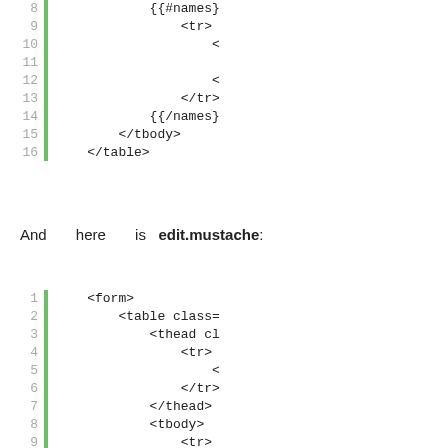[Figure (screenshot): Code block showing lines 8-16 of a mustache template with {{#names}}, <tr>, </tr>, {{/names}}, </tbody>, </table> tags]
And here is edit.mustache:
[Figure (screenshot): Code block showing lines 1-11 of edit.mustache with <form>, <table class=, <thead cl, <tr>, <, </tr>, </thead>, <tbody>, <tr>, < tags]